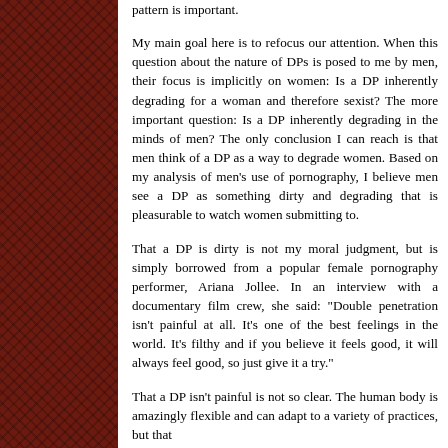pattern is important.
My main goal here is to refocus our attention. When this question about the nature of DPs is posed to me by men, their focus is implicitly on women: Is a DP inherently degrading for a woman and therefore sexist? The more important question: Is a DP inherently degrading in the minds of men? The only conclusion I can reach is that men think of a DP as a way to degrade women. Based on my analysis of men’s use of pornography, I believe men see a DP as something dirty and degrading that is pleasurable to watch women submitting to.
That a DP is dirty is not my moral judgment, but is simply borrowed from a popular female pornography performer, Ariana Jollee. In an interview with a documentary film crew, she said: “Double penetration isn’t painful at all. It’s one of the best feelings in the world. It’s filthy and if you believe it feels good, it will always feel good, so just give it a try.”
That a DP isn’t painful is not so clear. The human body is amazingly flexible and can adapt to a variety of practices, but that